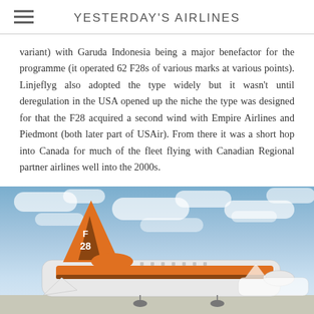YESTERDAY'S AIRLINES
variant) with Garuda Indonesia being a major benefactor for the programme (it operated 62 F28s of various marks at various points). Linjeflyg also adopted the type widely but it wasn't until deregulation in the USA opened up the niche the type was designed for that the F28 acquired a second wind with Empire Airlines and Piedmont (both later part of USAir). From there it was a short hop into Canada for much of the fleet flying with Canadian Regional partner airlines well into the 2000s.
[Figure (photo): Photograph of an aircraft tail section on the tarmac, painted orange and white with 'F 28' lettering on the tail fin, against a partly cloudy blue sky background.]